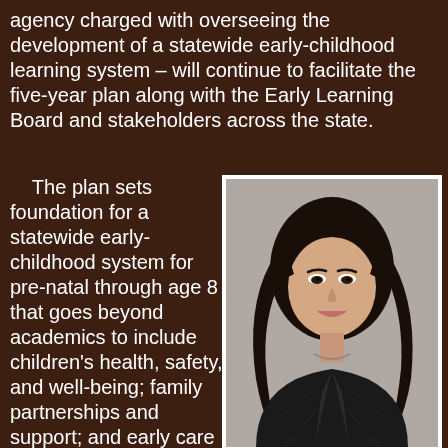agency charged with overseeing the development of a statewide early-childhood learning system – will continue to facilitate the five-year plan along with the Early Learning Board and stakeholders across the state.
The plan sets foundation for a statewide early-childhood system for pre-natal through age 8 that goes beyond academics to include children's health, safety, and well-being; family partnerships and support; and early care and learning.
    The plan starts with: the approximately 154,000 children under the age of
[Figure (photo): Professional headshot of Executive Office on Early Learning Director Lauren Moriguchi, a woman with dark shoulder-length hair wearing a dark blazer, smiling against a gray background.]
Executive Office on Early Learning Director
Lauren Moriguchi
Photo from earlylearning.hawaii.gov